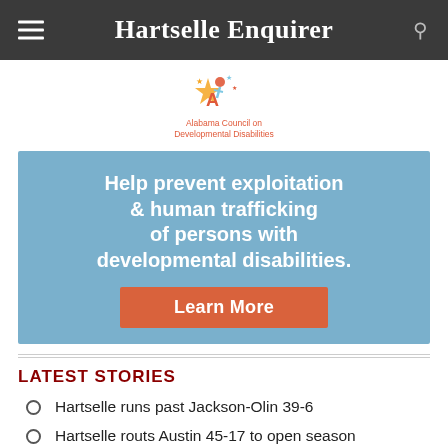Hartselle Enquirer
[Figure (logo): Alabama Council on Developmental Disabilities logo with colorful star/person icon and text]
[Figure (infographic): Blue ad banner reading: Help prevent exploitation & human trafficking of persons with developmental disabilities. Learn More button in orange-red.]
LATEST STORIES
Hartselle runs past Jackson-Olin 39-6
Hartselle routs Austin 45-17 to open season
Prep football standings, schedules